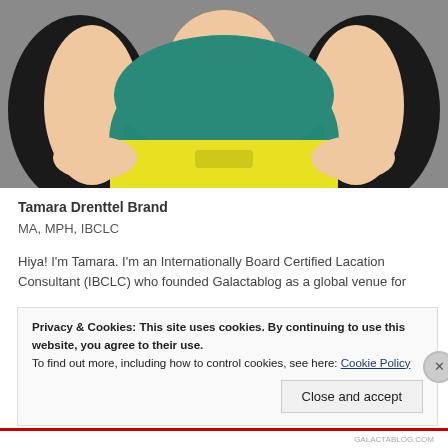[Figure (photo): Photo of Tamara Drenttel Brand — a woman in a teal top and black cardigan, wearing teal bead necklace, holding a yellow clipboard/board. Cropped to show torso.]
Tamara Drenttel Brand
MA, MPH, IBCLC
Hiya! I'm Tamara. I'm an Internationally Board Certified Lacation Consultant (IBCLC) who founded Galactablog as a global venue for
Privacy & Cookies: This site uses cookies. By continuing to use this website, you agree to their use.
To find out more, including how to control cookies, see here: Cookie Policy
Close and accept